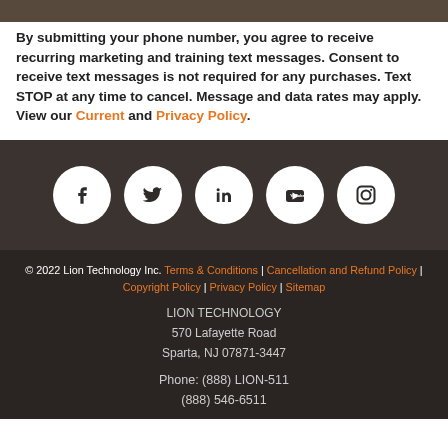[Figure (photo): Partial cropped photo at top of page]
By submitting your phone number, you agree to receive recurring marketing and training text messages. Consent to receive text messages is not required for any purchases. Text STOP at any time to cancel. Message and data rates may apply. View our Current and Privacy Policy.
[Figure (infographic): Social media icons: Facebook, Twitter, LinkedIn, YouTube, Instagram — white circles on dark brown background]
© 2022 Lion Technology Inc. Terms & Conditions | Cancellation and Refund Policy | Copyright Policy | Privacy Policy | Sitemap
LION TECHNOLOGY
570 Lafayette Road
Spartа, NJ 07871-3447
Phone: (888) LION-511
(888) 546-6511